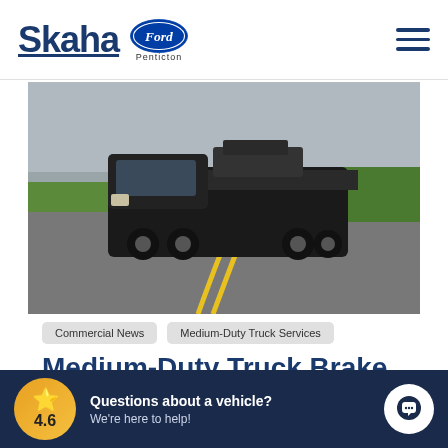Skaha Ford Penticton
[Figure (photo): Black Ford medium-duty flatbed truck hauling another vehicle on a road, overcast sky, green trees in background]
Commercial News
Medium-Duty Truck Services
Medium-Duty Truck Brake
4.6 Questions about a vehicle? We're here to help!